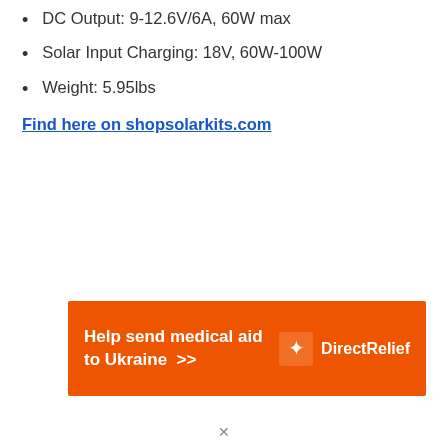DC Output: 9-12.6V/6A, 60W max
Solar Input Charging: 18V, 60W-100W
Weight: 5.95lbs
Find here on shopsolarkits.com
[Figure (other): Orange advertisement banner: Help send medical aid to Ukraine >> with DirectRelief logo]